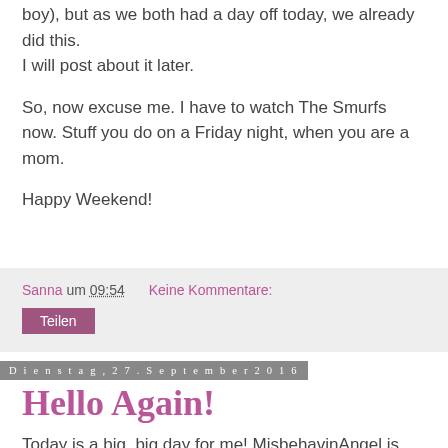boy), but as we both had a day off today, we already did this. I will post about it later.
So, now excuse me. I have to watch The Smurfs now. Stuff you do on a Friday night, when you are a mom.
Happy Weekend!
Sanna um 09:54    Keine Kommentare:
Teilen
Dienstag, 27. September 2016
Hello Again!
Today is a big, big day for me! MisbehavinAngel is back!!
Bad news first: During my absence, my domain was used by someone else. Bummer! So make sure to use the correct web adress when you wanna visit me. I am working on